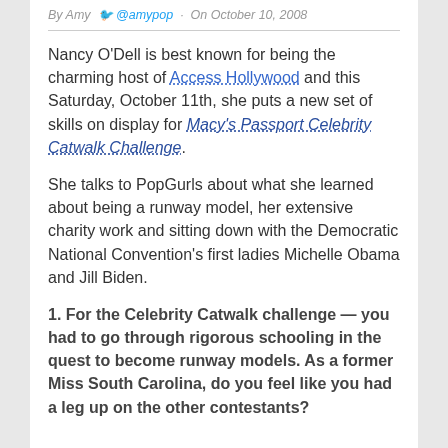By Amy @amypop · On October 10, 2008
Nancy O'Dell is best known for being the charming host of Access Hollywood and this Saturday, October 11th, she puts a new set of skills on display for Macy's Passport Celebrity Catwalk Challenge.
She talks to PopGurls about what she learned about being a runway model, her extensive charity work and sitting down with the Democratic National Convention's first ladies Michelle Obama and Jill Biden.
1. For the Celebrity Catwalk challenge — you had to go through rigorous schooling in the quest to become runway models. As a former Miss South Carolina, do you feel like you had a leg up on the other contestants?